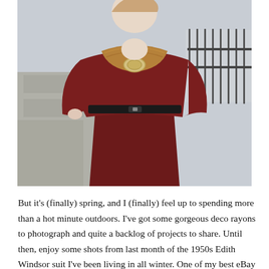[Figure (photo): A woman wearing a 1950s dark red/burgundy Edith Windsor suit with a black belt cinched at the waist and a faux fur stole with a decorative brooch. She is posed outdoors in front of stone architecture and iron fencing, with a wintry grey sky background.]
But it's (finally) spring, and I (finally) feel up to spending more than a hot minute outdoors. I've got some gorgeous deco rayons to photograph and quite a backlog of projects to share. Until then, enjoy some shots from last month of the 1950s Edith Windsor suit I've been living in all winter. One of my best eBay finds ever. It works equally well with